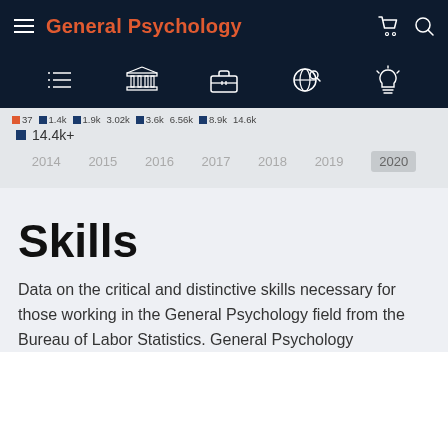General Psychology
[Figure (screenshot): Icon navigation row with list, building, briefcase, globe search, and lightbulb icons on dark navy background]
[Figure (continuous-plot): Timeline data chart showing yearly stats from 2014 to 2020, with legend values including 1.4k, 1.9k, 3.02k, 3.6k, 6.56k, 8.9k, 14.6k. Highlighted value 14.4k+. Year axis shows 2014, 2015, 2016, 2017, 2018, 2019, 2020 (active).]
Skills
Data on the critical and distinctive skills necessary for those working in the General Psychology field from the Bureau of Labor Statistics. General Psychology